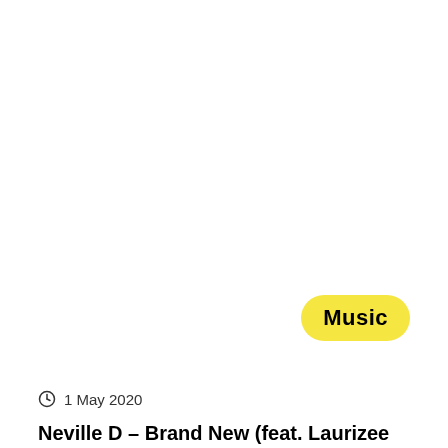Music
1 May 2020
Neville D – Brand New (feat. Laurizee Love)